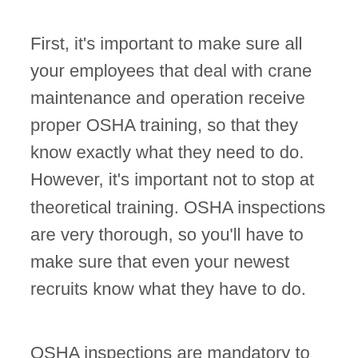First, it's important to make sure all your employees that deal with crane maintenance and operation receive proper OSHA training, so that they know exactly what they need to do. However, it's important not to stop at theoretical training. OSHA inspections are very thorough, so you'll have to make sure that even your newest recruits know what they have to do.
OSHA inspections are mandatory to be performed on a yearly basis on all mobile and tower cranes as well as any other equipment that weighs at least